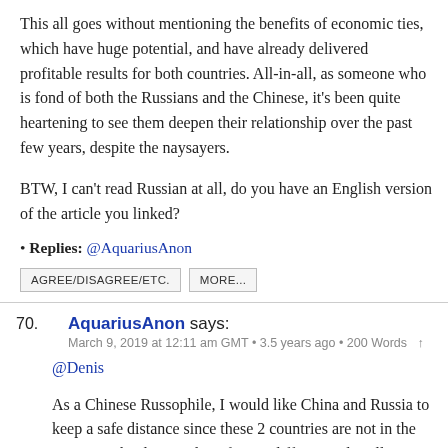This all goes without mentioning the benefits of economic ties, which have huge potential, and have already delivered profitable results for both countries. All-in-all, as someone who is fond of both the Russians and the Chinese, it's been quite heartening to see them deepen their relationship over the past few years, despite the naysayers.
BTW, I can't read Russian at all, do you have an English version of the article you linked?
• Replies: @AquariusAnon
AGREE/DISAGREE/ETC.   MORE...
70. AquariusAnon says: March 9, 2019 at 12:11 am GMT • 3.5 years ago • 200 Words ↑
@Denis
As a Chinese Russophile, I would like China and Russia to keep a safe distance since these 2 countries are not in the same weight class, and are far too different culturally.